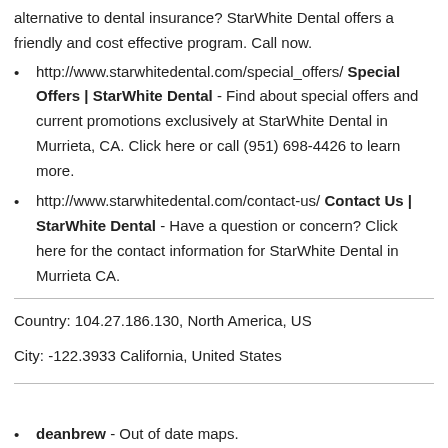alternative to dental insurance? StarWhite Dental offers a friendly and cost effective program. Call now.
http://www.starwhitedental.com/special_offers/ Special Offers | StarWhite Dental - Find about special offers and current promotions exclusively at StarWhite Dental in Murrieta, CA. Click here or call (951) 698-4426 to learn more.
http://www.starwhitedental.com/contact-us/ Contact Us | StarWhite Dental - Have a question or concern? Click here for the contact information for StarWhite Dental in Murrieta CA.
Country: 104.27.186.130, North America, US
City: -122.3933 California, United States
deanbrew - Out of date maps.